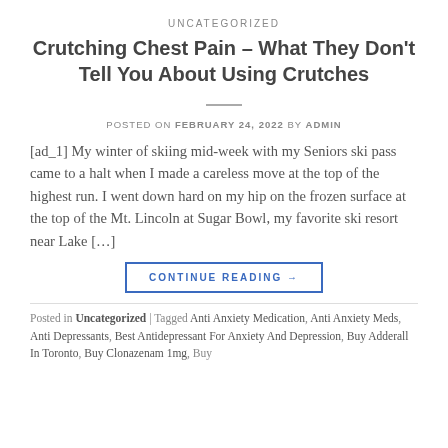UNCATEGORIZED
Crutching Chest Pain – What They Don't Tell You About Using Crutches
POSTED ON FEBRUARY 24, 2022 BY ADMIN
[ad_1] My winter of skiing mid-week with my Seniors ski pass came to a halt when I made a careless move at the top of the highest run. I went down hard on my hip on the frozen surface at the top of the Mt. Lincoln at Sugar Bowl, my favorite ski resort near Lake […]
CONTINUE READING →
Posted in Uncategorized | Tagged Anti Anxiety Medication, Anti Anxiety Meds, Anti Depressants, Best Antidepressant For Anxiety And Depression, Buy Adderall In Toronto, Buy Clonazenam 1mg, Buy